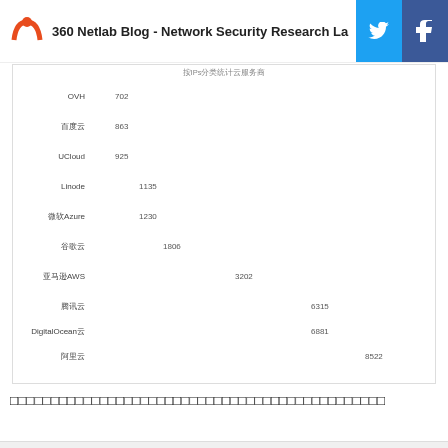360 Netlab Blog - Network Security Research La
[Figure (infographic): Bar chart using cloud icons showing number of IPs per cloud provider: OVH 702, 百度云 863, UCloud 925, Linode 1135, 微软Azure 1230, 谷歌云 1806, 亚马逊AWS 3202, 腾讯云 6315, DigitalOcean云 6881, 阿里云 8522]
□□□□□□□□□□□□□□□□□□□□□□□□□□□□□□□□□□□□□□□□□□□□□□